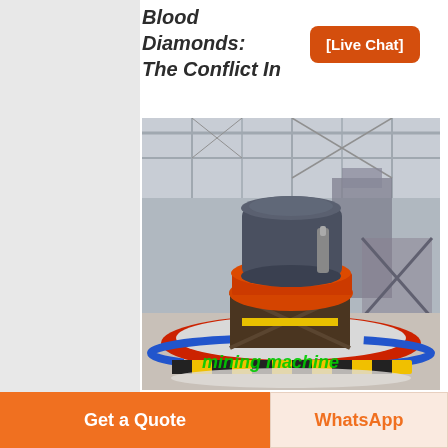Blood Diamonds: The Conflict In
[Live Chat]
[Figure (photo): Industrial mining machine (cone crusher) inside a large factory/warehouse with colorful floor markings in red, blue, and yellow. Text overlay reads 'mining machine' in green italic font.]
Sierra Leone
Dec 06, 2002· Blood Diamonds: The Conflict in Sierra Leone History of Diamonds: The name "diamond" comes from the Greek
Get a Quote
WhatsApp